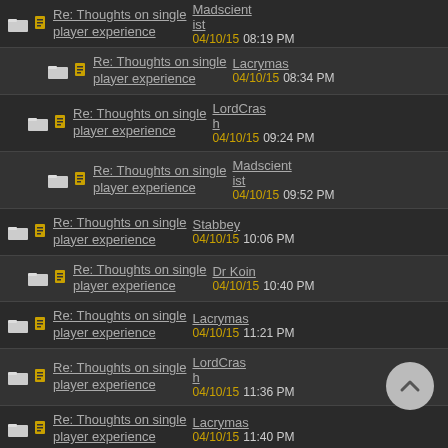Re: Thoughts on single player experience | Madscientist | 04/10/15 08:19 PM
Re: Thoughts on single player experience | Lacrymas | 04/10/15 08:34 PM
Re: Thoughts on single player experience | LordCrash | 04/10/15 09:24 PM
Re: Thoughts on single player experience | Madscientist | 04/10/15 09:52 PM
Re: Thoughts on single player experience | Stabbey | 04/10/15 10:06 PM
Re: Thoughts on single player experience | Dr Koin | 04/10/15 10:40 PM
Re: Thoughts on single player experience | Lacrymas | 04/10/15 11:21 PM
Re: Thoughts on single player experience | LordCrash | 04/10/15 11:36 PM
Re: Thoughts on single player experience | Lacrymas | 04/10/15 11:40 PM
Re: Thoughts on single player experience | LordCrash | 05/10/15 12:39 AM